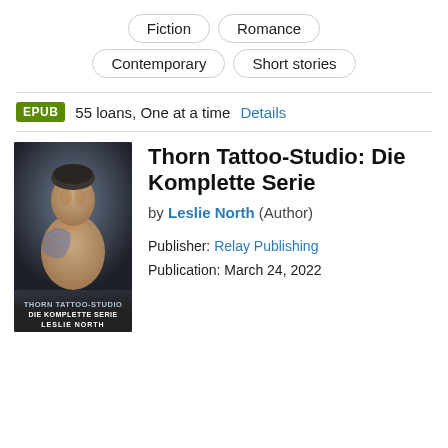Fiction
Romance
Contemporary
Short stories
EPUB  55 loans, One at a time  Details
[Figure (photo): Book cover for Thorn Tattoo-Studio: Die Komplette Serie by Leslie North. Shows a tattooed shirtless man with short hair against a dark blue-grey background. Cover text reads THORN TATTOO-STUDIO, DIE KOMPLETTE SERIE, LESLIE NORTH.]
Thorn Tattoo-Studio: Die Komplette Serie
by Leslie North (Author)
Publisher: Relay Publishing
Publication: March 24, 2022